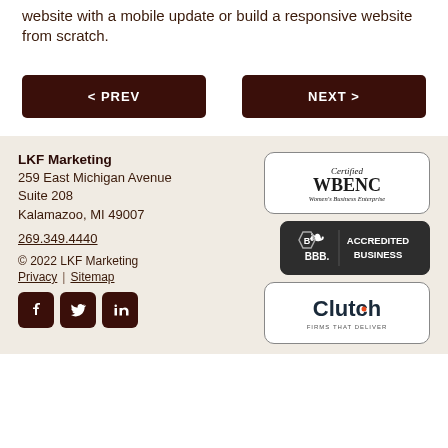website with a mobile update or build a responsive website from scratch.
< PREV
NEXT >
LKF Marketing
259 East Michigan Avenue
Suite 208
Kalamazoo, MI 49007
269.349.4440

© 2022 LKF Marketing
Privacy | Sitemap